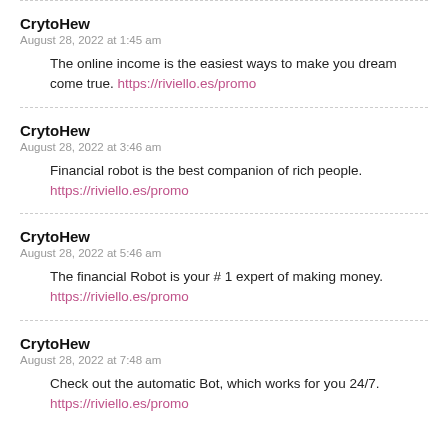CrytoHew
August 28, 2022 at 1:45 am
The online income is the easiest ways to make you dream come true. https://riviello.es/promo
CrytoHew
August 28, 2022 at 3:46 am
Financial robot is the best companion of rich people. https://riviello.es/promo
CrytoHew
August 28, 2022 at 5:46 am
The financial Robot is your # 1 expert of making money. https://riviello.es/promo
CrytoHew
August 28, 2022 at 7:48 am
Check out the automatic Bot, which works for you 24/7. https://riviello.es/promo